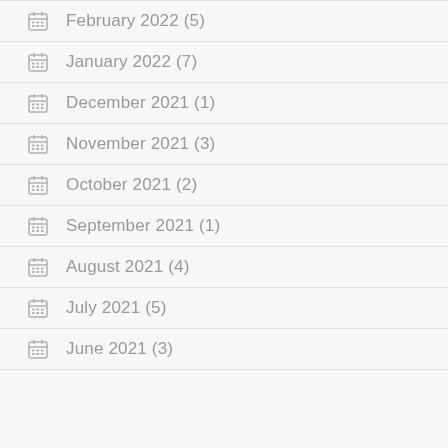February 2022 (5)
January 2022 (7)
December 2021 (1)
November 2021 (3)
October 2021 (2)
September 2021 (1)
August 2021 (4)
July 2021 (5)
June 2021 (3)